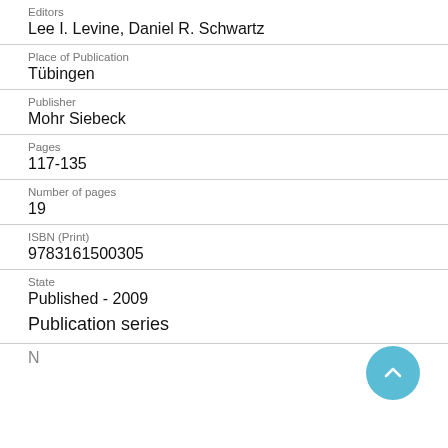Editors
Lee I. Levine, Daniel R. Schwartz
Place of Publication
Tübingen
Publisher
Mohr Siebeck
Pages
117-135
Number of pages
19
ISBN (Print)
9783161500305
State
Published - 2009
Publication series
N...